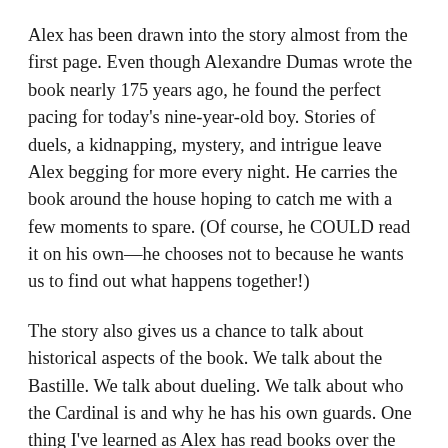Alex has been drawn into the story almost from the first page. Even though Alexandre Dumas wrote the book nearly 175 years ago, he found the perfect pacing for today's nine-year-old boy. Stories of duels, a kidnapping, mystery, and intrigue leave Alex begging for more every night. He carries the book around the house hoping to catch me with a few moments to spare. (Of course, he COULD read it on his own—he chooses not to because he wants us to find out what happens together!)
The story also gives us a chance to talk about historical aspects of the book. We talk about the Bastille. We talk about dueling. We talk about who the Cardinal is and why he has his own guards. One thing I've learned as Alex has read books over the past few years is that